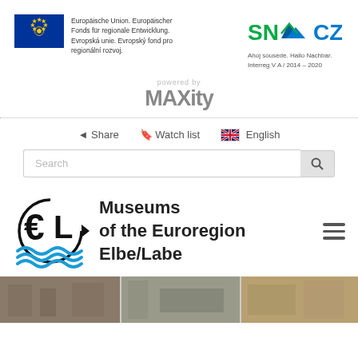[Figure (logo): EU flag and text: Europäische Union. Europäischer Fonds für regionale Entwicklung. Evropská unie. Evropský fond pro regionální rozvoj.]
[Figure (logo): SN CZ Interreg logo with text: Ahoj sousede. Hallo Nachbar. Interreg V A / 2014–2020]
[Figure (logo): powered by maxity logo]
Share   Watch list   English
[Figure (screenshot): Search bar with search button]
[Figure (logo): Museums of the Euroregion Elbe/Labe logo with stylized EL letters and blue waves]
Museums of the Euroregion Elbe/Labe
[Figure (photo): Bottom photo strip showing museum interior scenes]